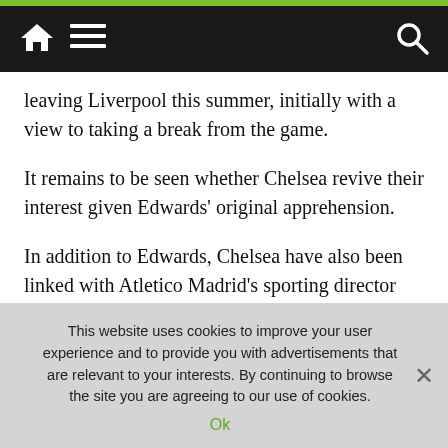Navigation bar with home, menu, and search icons
leaving Liverpool this summer, initially with a view to taking a break from the game.
It remains to be seen whether Chelsea revive their interest given Edwards' original apprehension.
In addition to Edwards, Chelsea have also been linked with Atletico Madrid's sporting director Andrea Berta, while former Barcelona technical secretary Ramon Planes, Monaco transfer chief Paul Mitchell and ex-Tottenham performance director Steve Hitchen may also emerge as early candidates.
This website uses cookies to improve your user experience and to provide you with advertisements that are relevant to your interests. By continuing to browse the site you are agreeing to our use of cookies.
Ok